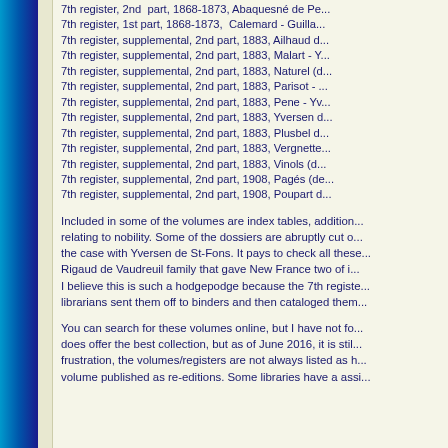7th register, 2nd  part, 1868-1873, Abaquesné de Pe...
7th register, 1st part, 1868-1873,  Calemard - Guilla...
7th register, supplemental, 2nd part, 1883, Ailhaud d...
7th register, supplemental, 2nd part, 1883, Malart - Y...
7th register, supplemental, 2nd part, 1883, Naturel (d...
7th register, supplemental, 2nd part, 1883, Parisot - ...
7th register, supplemental, 2nd part, 1883, Pene - Yv...
7th register, supplemental, 2nd part, 1883, Yversen d...
7th register, supplemental, 2nd part, 1883, Plusbel d...
7th register, supplemental, 2nd part, 1883, Vergnette...
7th register, supplemental, 2nd part, 1883, Vinols (d...
7th register, supplemental, 2nd part, 1908, Pagés (de...
7th register, supplemental, 2nd part, 1908, Poupart d...
Included in some of the volumes are index tables, addition... relating to nobility. Some of the dossiers are abruptly cut o... the case with Yversen de St-Fons. It pays to check all these... Rigaud de Vaudreuil family that gave New France two of i... I believe this is such a hodgepodge because the 7th registe... librarians sent them off to binders and then cataloged them...
You can search for these volumes online, but I have not fo... does offer the best collection, but as of June 2016, it is stil... frustration, the volumes/registers are not always listed as h... volume published as re-editions. Some libraries have a assi...